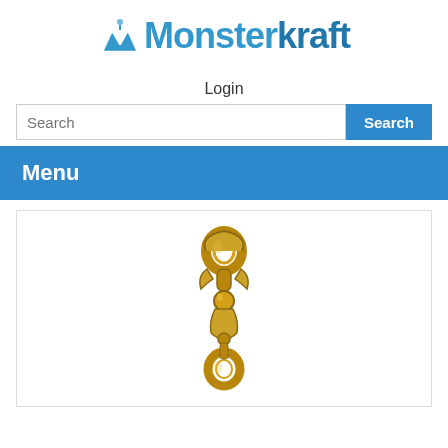[Figure (logo): Monsterkraft logo with blue stylized M icon and text]
Login
[Figure (screenshot): Search input field with placeholder text 'Search' and a blue 'Search' button]
Menu
[Figure (photo): Gold/brass colored decorative swivel clasp or connector hardware piece on white background]